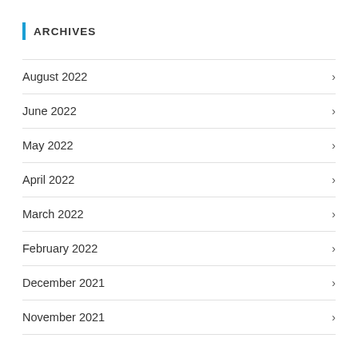ARCHIVES
August 2022
June 2022
May 2022
April 2022
March 2022
February 2022
December 2021
November 2021